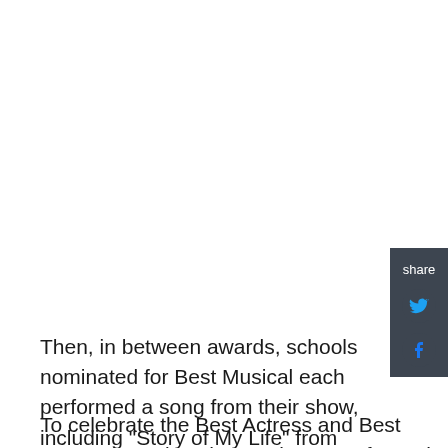Then, in between awards, schools nominated for Best Musical each performed a song from their show, including "Story of My Life" from Colonie High School's Shrek The Musical, "Revolting Children" from South Glens Falls High School's Matilda, "Two Worlds" from Catskills High School's Disney's Tarzan - and that was just the Tier C nominees!
To celebrate the Best Actress and Best Actor categories, the nominees performed a medley of